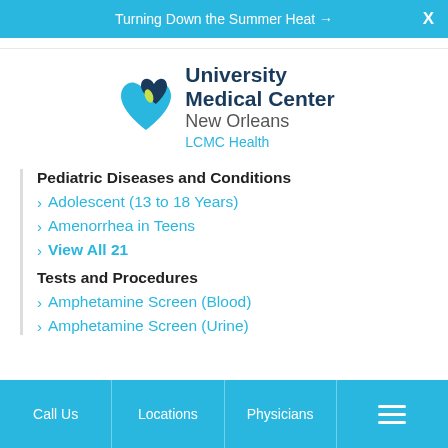Turning Down the Summer Heat →  X
[Figure (logo): University Medical Center New Orleans LCMC Health logo with two overlapping heart shapes in teal and dark blue]
Pediatric Diseases and Conditions
Adolescent (13 to 18 Years)
Amenorrhea in Teens
View All 21
Tests and Procedures
Amphetamine Screen (Blood)
Amphetamine Screen (Urine)
Call Us    Locations    Physicians    ☰